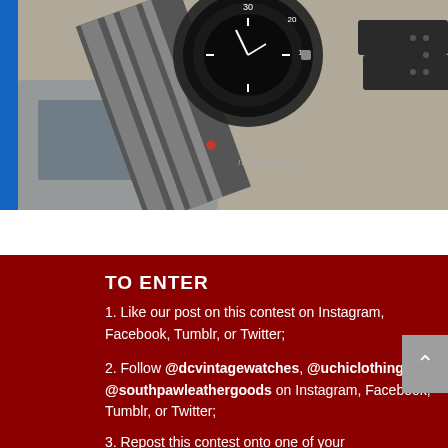[Figure (photo): Photo of a watch with a striped NATO strap and a leather strap, displayed on a surface. The watch has a black bezel with white markings. A small red dot is visible on the strap.]
TO ENTER
1. Like our post on this contest on Instagram, Facebook, Tumblr, or Twitter;
2. Follow @dcvintagewatches, @uchiclothing, and @southpawleathergoods on Instagram, Facebook, Tumblr, or Twitter;
3. Repost this contest onto one of your